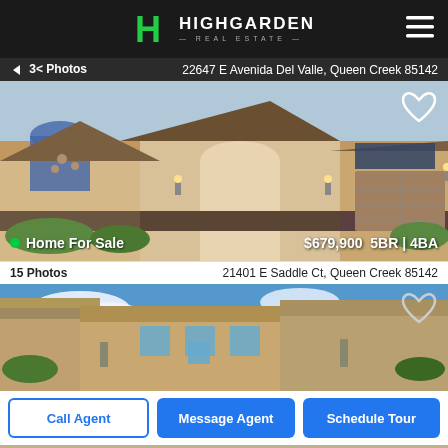HIGHGARDEN REAL ESTATE
3< Photos   22647 E Avenida Del Valle, Queen Creek 85142
[Figure (photo): Two-story stucco home for sale with tile roof, arched entryway, and two-car garage in Queen Creek Arizona]
Home For Sale   $679,900   5BR | 4BA
15 Photos   21401 E Saddle Ct, Queen Creek 85142
[Figure (photo): Single-story adobe-style home with blue sky background in Queen Creek Arizona]
Call Agent   Message Agent   Schedule Tour
[Figure (photo): Partial view of another house listing at bottom of page]